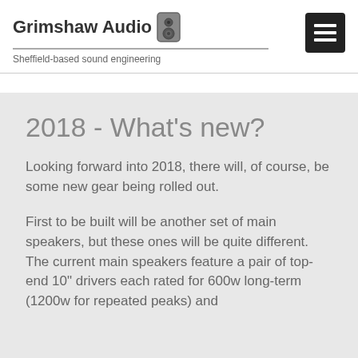Grimshaw Audio — Sheffield-based sound engineering
2018 - What's new?
Looking forward into 2018, there will, of course, be some new gear being rolled out.
First to be built will be another set of main speakers, but these ones will be quite different. The current main speakers feature a pair of top-end 10" drivers each rated for 600w long-term (1200w for repeated peaks) and